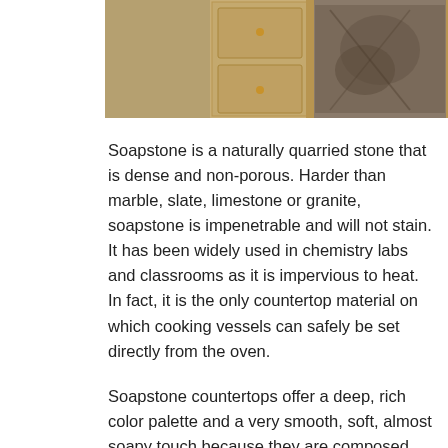[Figure (photo): Partial view of kitchen cabinets with decorative panels and artwork visible, warm golden/tan wood tone cabinetry]
Soapstone is a naturally quarried stone that is dense and non-porous. Harder than marble, slate, limestone or granite, soapstone is impenetrable and will not stain. It has been widely used in chemistry labs and classrooms as it is impervious to heat. In fact, it is the only countertop material on which cooking vessels can safely be set directly from the oven.
Soapstone countertops offer a deep, rich color palette and a very smooth, soft, almost soapy touch because they are composed primarily of quartz and mineral talc. Its soft but dense nature allows for an aging process that makes it become even more